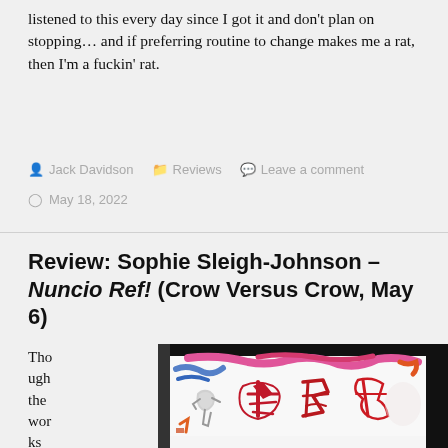listened to this every day since I got it and don't plan on stopping… and if preferring routine to change makes me a rat, then I'm a fuckin' rat.
Jack Davidson   Reviews   Leave a comment   May 18, 2022
Review: Sophie Sleigh-Johnson – Nuncio Ref! (Crow Versus Crow, May 6)
Though the works that first
[Figure (illustration): Album cover art for Nuncio Ref! — abstract colorful artwork with brushstrokes in pink, blue, red, orange, and a large black border/frame element, with stylized red calligraphic or typographic characters in center.]